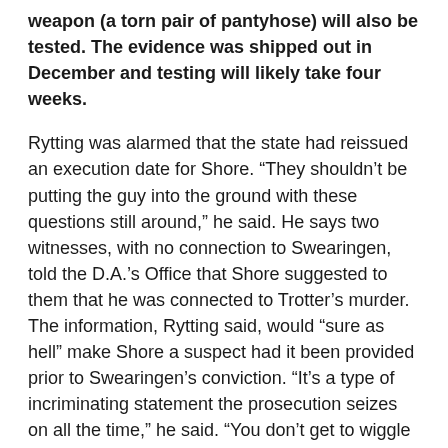weapon (a torn pair of pantyhose) will also be tested. The evidence was shipped out in December and testing will likely take four weeks.
Rytting was alarmed that the state had reissued an execution date for Shore. “They shouldn’t be putting the guy into the ground with these questions still around,” he said. He says two witnesses, with no connection to Swearingen, told the D.A.’s Office that Shore suggested to them that he was connected to Trotter’s murder. The information, Rytting said, would “sure as hell” make Shore a suspect had it been provided prior to Swearingen’s conviction. “It’s a type of incriminating statement the prosecution seizes on all the time,” he said. “You don’t get to wiggle out of it with an ‘Aw shucks, I was kidding.’”
Shore will likely mark the first state-sanctioned killing of